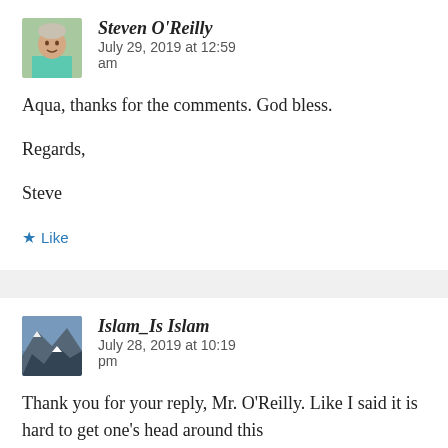[Figure (photo): Avatar photo of Steven O'Reilly, a man in a teal/green shirt]
Steven O'Reilly   July 29, 2019 at 12:59 am
Aqua, thanks for the comments. God bless.

Regards,

Steve
★ Like
[Figure (photo): Avatar photo of Islam_Is Islam, showing a mountain landscape]
Islam_Is Islam   July 28, 2019 at 10:19 pm
Thank you for your reply, Mr. O'Reilly. Like I said it is hard to get one's head around this